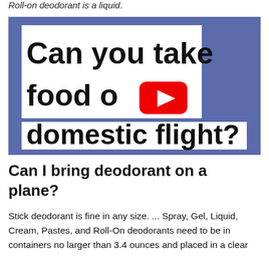Roll-on deodorant is a liquid.
[Figure (screenshot): YouTube video thumbnail with blue background showing bold black text 'Can you take food on domestic flight?' overlaid on a white text box, with a YouTube play button (red rectangle with white triangle) in the center]
Can I bring deodorant on a plane?
Stick deodorant is fine in any size. ... Spray, Gel, Liquid, Cream, Pastes, and Roll-On deodorants need to be in containers no larger than 3.4 ounces and placed in a clear